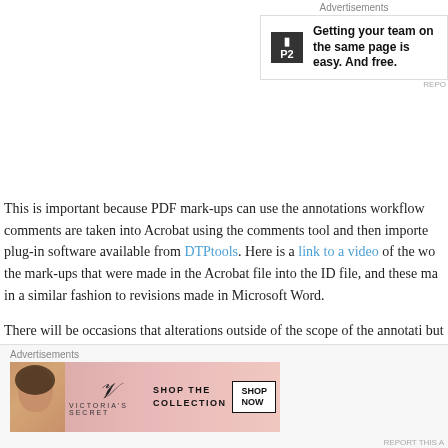[Figure (other): Advertisement banner: P2 logo with text 'Getting your team on the same page is easy. And free.']
This is important because PDF mark-ups can use the annotations workflow comments are taken into Acrobat using the comments tool and then imported plug-in software available from DTPtools. Here is a link to a video of the wo the mark-ups that were made in the Acrobat file into the ID file, and these ma in a similar fashion to revisions made in Microsoft Word.
There will be occasions that alterations outside of the scope of the annotati but I would encourage anyone who has been asked to mark-up a PDF for the suggestions:
Use the Adobe Acrobat Reader
Yes it is possible to mark-up a PDF in other software such as Preview (Mac) for the mark-ups to save and be interpreted correctly by the DTPtools annota Adobe Acrobat Reader.
[Figure (other): Victoria's Secret advertisement banner: woman's face on left, VS logo, 'SHOP THE COLLECTION', 'SHOP NOW' button]